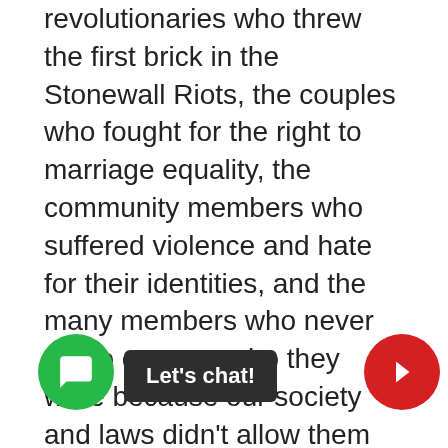revolutionaries who threw the first brick in the Stonewall Riots, the couples who fought for the right to marriage equality, the community members who suffered violence and hate for their identities, and the many members who never got to express who they were because our society and laws didn't allow them the freedom of expression we now experience. Pride is so important to the gay community because for so long, and still in many places, they were not safe to be prideful in their identities, in their relationships, in their community.
This month we are reminded of how far we have come and how far we have to go. The [gay] community has been propelled forward, faced backlash, been put on the backburner, gained national attention